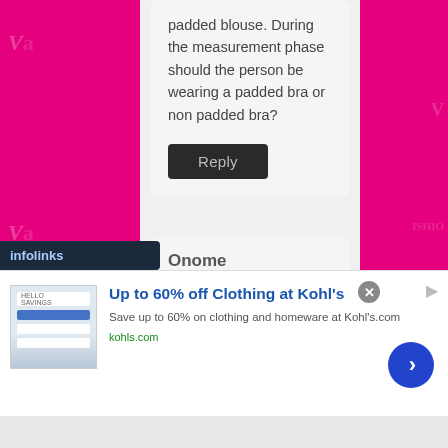padded blouse. During the measurement phase should the person be wearing a padded bra or non padded bra?
Reply
Onome
April 15, 2020 at 11:37 pm
Its wonderful
[Figure (screenshot): Kohl's advertisement banner: Up to 60% off Clothing at Kohl's. Save up to 60% on clothing and homeware at Kohl's.com. kohls.com]
infolinks